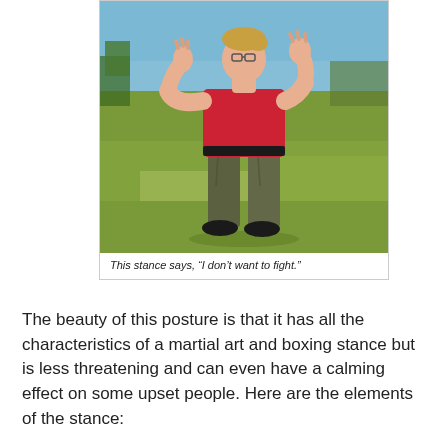[Figure (photo): A woman in a red short-sleeve shirt and dark olive/grey cargo pants stands on a grass field outdoors on a sunny day. She is in a martial arts-style non-threatening stance with both arms raised in front of her, hands open/raised as if to say 'stop' or 'I don't want to fight.' She is wearing dark shoes. The background shows a green grassy field and a blue sky with some trees.]
This stance says, “I don’t want to fight.”
The beauty of this posture is that it has all the characteristics of a martial art and boxing stance but is less threatening and can even have a calming effect on some upset people. Here are the elements of the stance: